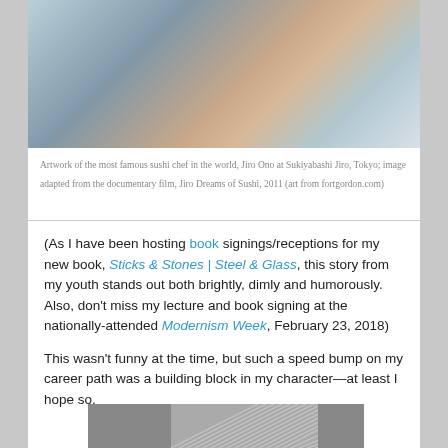[Figure (photo): Artwork painting of Jiro Ono, an elderly man in a light blue jacket, at Sukiyabashi Jiro, Tokyo; adapted from the documentary film Jiro Dreams of Sushi, 2011]
Artwork of the most famous sushi chef in the world, Jiro Ono at Sukiyabashi Jiro, Tokyo; image adapted from the documentary film, Jiro Dreams of Sushi, 2011 (art from fortgordon.com)
(As I have been hosting book signings/receptions for my new book, Sticks & Stones | Steel & Glass, this story from my youth stands out both brightly, dimly and humorously. Also, don't miss my lecture and book signing at the nationally-attended Modernism Week, February 23, 2018)
This wasn't funny at the time, but such a speed bump on my career path was a building block in my character—at least I hope so.
[Figure (photo): Partial view of a black and white geometric/architectural image showing diagonal lines and grid patterns]